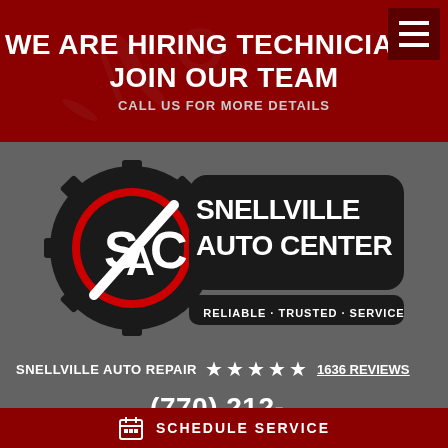WE ARE HIRING TECHNICIANS! JOIN OUR TEAM
CALL US FOR MORE DETAILS
[Figure (logo): Snellville Auto Center logo with gear icon and text: SNELLVILLE AUTO CENTER - RELIABLE · TRUSTED · SERVICE]
SNELLVILLE AUTO REPAIR ★★★★★ 1636 REVIEWS
(770) 212-3520
SCHEDULE SERVICE